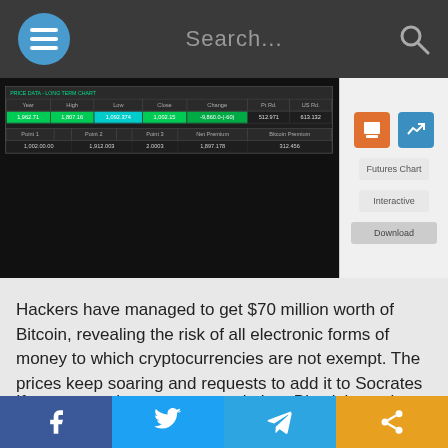Search...
[Figure (screenshot): Screenshot of a financial data table showing Bitcoin price data with columns for High, Low, Open, Change, Pt Rd, US Rd. One row is highlighted in green. A second sub-table shows Point 1, Point 2, Point 3, Net Premium, Bitcoin Premium values.]
Hackers have managed to get $70 million worth of Bitcoin, revealing the risk of all electronic forms of money to which cryptocurrencies are not exempt. The prices keep soaring and requests to add it to Socrates have been coming in so we are complying. With the futures about to begin, this should make it a more transparent market. The problem now is a single trade can be registered just buy one coin to put up prints that do not reflect volume. A future contract will help reveal the true depth of a market.
If we accept the quotes as real, then Bitcoin's market
f  Share on Facebook  |  Tweet on Twitter  |  Share on Telegram  |  Share